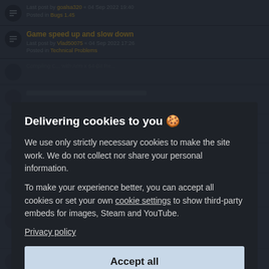Last post by goalsa320 « 04 Sep 2022 19:40
Posted in Bugs 1.45
Game speed up and slow down
Last post by Vlad50075 « 04 Sep 2022 17:26
Posted in Technical Problems
Delivering cookies to you 🍪
We use only strictly necessary cookies to make the site work. We do not collect nor share your personal information.
To make your experience better, you can accept all cookies or set your own cookie settings to show third-party embeds for images, Steam and YouTube.
Privacy policy
Accept all
Reject optional
Slow acceleration using manual clutch (wheel)